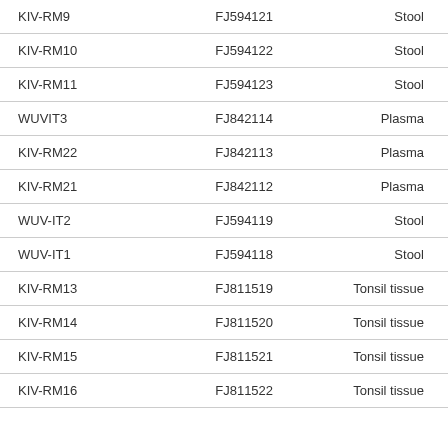| KIV-RM9 | FJ594121 | Stool |
| KIV-RM10 | FJ594122 | Stool |
| KIV-RM11 | FJ594123 | Stool |
| WUVIT3 | FJ842114 | Plasma |
| KIV-RM22 | FJ842113 | Plasma |
| KIV-RM21 | FJ842112 | Plasma |
| WUV-IT2 | FJ594119 | Stool |
| WUV-IT1 | FJ594118 | Stool |
| KIV-RM13 | FJ811519 | Tonsil tissue |
| KIV-RM14 | FJ811520 | Tonsil tissue |
| KIV-RM15 | FJ811521 | Tonsil tissue |
| KIV-RM16 | FJ811522 | Tonsil tissue |